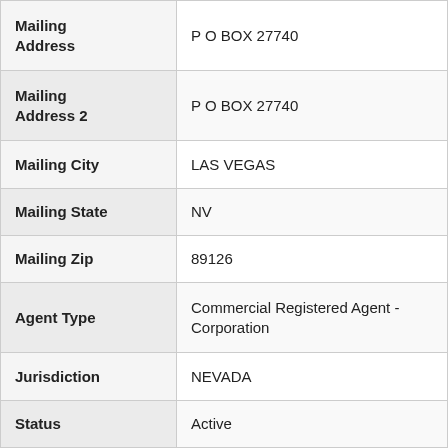| Field | Value |
| --- | --- |
| Mailing Address | P O BOX 27740 |
| Mailing Address 2 | P O BOX 27740 |
| Mailing City | LAS VEGAS |
| Mailing State | NV |
| Mailing Zip | 89126 |
| Agent Type | Commercial Registered Agent - Corporation |
| Jurisdiction | NEVADA |
| Status | Active |